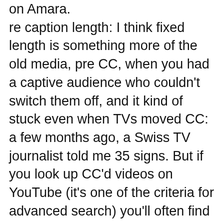on Amara. re caption length: I think fixed length is something more of the old media, pre CC, when you had a captive audience who couldn't switch them off, and it kind of stuck even when TVs moved CC: a few months ago, a Swiss TV journalist told me 35 signs. But if you look up CC'd videos on YouTube (it's one of the criteria for advanced search) you'll often find longer captions. The Amara transcribing box gets redder and redder in the face as a caption gets longer busts, until it busts a gasket and